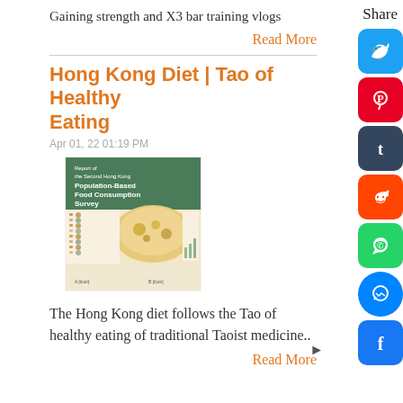Gaining strength and X3 bar training vlogs
Read More
Hong Kong Diet | Tao of Healthy Eating
Apr 01, 22 01:19 PM
[Figure (photo): Cover of 'Report of the Second Hong Kong Population-Based Food Consumption Survey' showing a colorful food image and data charts]
The Hong Kong diet follows the Tao of healthy eating of traditional Taoist medicine..
Read More
Share